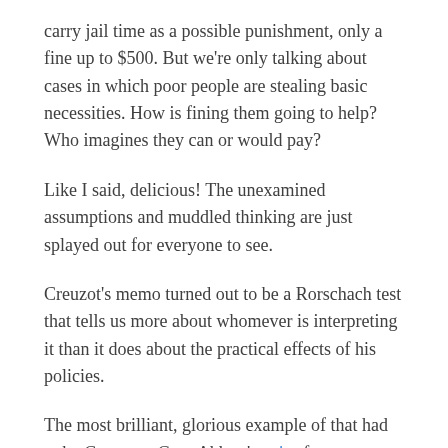carry jail time as a possible punishment, only a fine up to $500. But we're only talking about cases in which poor people are stealing basic necessities. How is fining them going to help? Who imagines they can or would pay?
Like I said, delicious! The unexamined assumptions and muddled thinking are just splayed out for everyone to see.
Creuzot's memo turned out to be a Rorschach test that tells us more about whomever is interpreting it than it does about the practical effects of his policies.
The most brilliant, glorious example of that had to be Governor Greg Abbott's pair of tweets. They were amazing, a magnificent fusion of Inspector Javert, Mr. Burns from the Simpsons, and Scrooge McDuck!